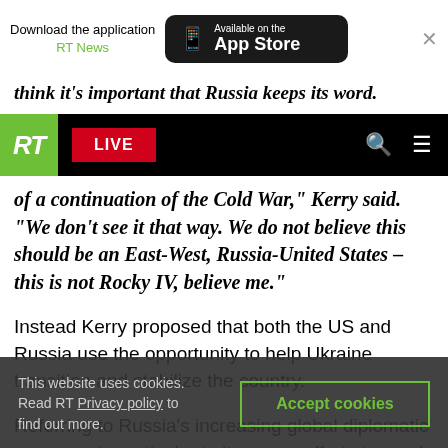Download the application RT News — Available on the App Store
think it's important that Russia keeps its word.
of a continuation of the Cold War," Kerry said. "We don't see it that way. We do not believe this should be an East-West, Russia-United States – this is not Rocky IV, believe me."
Instead Kerry proposed that both the US and Russia use the opportunity to help Ukraine transition and stabilize the country.
Referring to Russia's increasing global diplomatic presence in particular to its peace efforts to reach
This website uses cookies. Read RT Privacy policy to find out more.